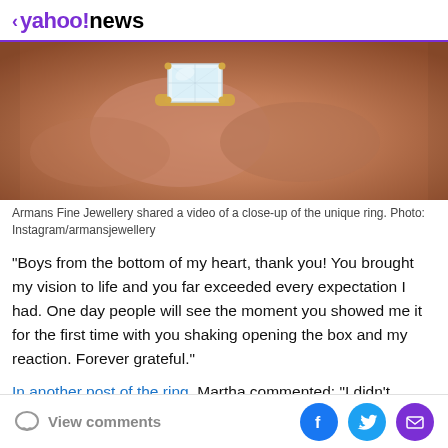< yahoo!news
[Figure (photo): Close-up photo of a hand wearing a large emerald-cut diamond engagement ring on a gold band.]
Armans Fine Jewellery shared a video of a close-up of the unique ring. Photo: Instagram/armansjewellery
"Boys from the bottom of my heart, thank you! You brought my vision to life and you far exceeded every expectation I had. One day people will see the moment you showed me it for the first time with you shaking opening the box and my reaction. Forever grateful."
In another post of the ring, Martha commented: "I didn't
View comments